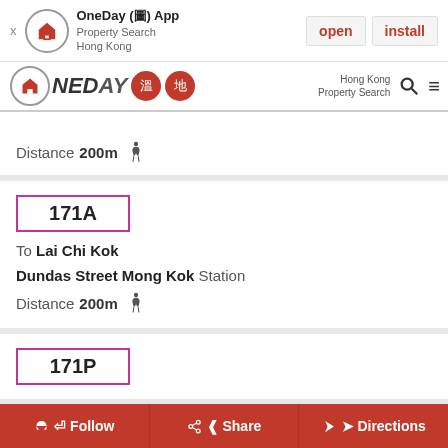OneDay (圖) App Property Search Hong Kong — open | install
OneDay 溫地 Hong Kong Property Search
Distance 200m
171A
To Lai Chi Kok
Dundas Street Mong Kok Station
Distance 200m
171P
Follow  Share  Directions